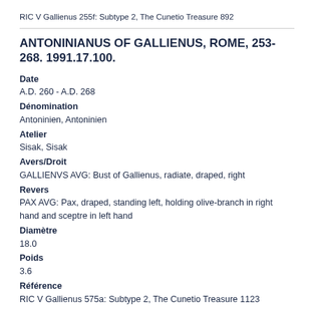RIC V Gallienus 255f: Subtype 2, The Cunetio Treasure 892
ANTONINIANUS OF GALLIENUS, ROME, 253-268. 1991.17.100.
Date
A.D. 260 - A.D. 268
Dénomination
Antoninien, Antoninien
Atelier
Sisak, Sisak
Avers/Droit
GALLIENVS AVG: Bust of Gallienus, radiate, draped, right
Revers
PAX AVG: Pax, draped, standing left, holding olive-branch in right hand and sceptre in left hand
Diamètre
18.0
Poids
3.6
Référence
RIC V Gallienus 575a: Subtype 2, The Cunetio Treasure 1123